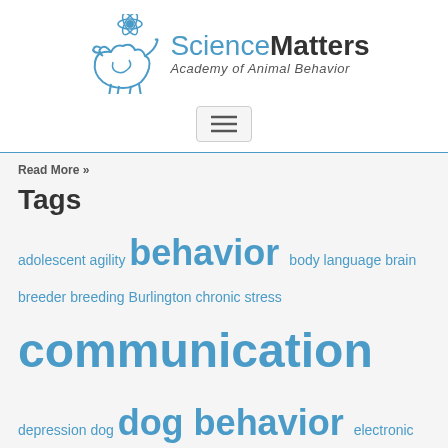[Figure (logo): ScienceMatters Academy of Animal Behavior logo with atom icon and dog silhouette]
Read More »
Tags
adolescent agility behavior body language brain breeder breeding Burlington chronic stress communication depression dog dog behavior electronic collars emotion energy level enrichment Essex exercise family dogs habit jealousy Lake Champlain Learning Maine motivation neuroscience New York PTSD punishment puppies puppy reinforcement rescue research